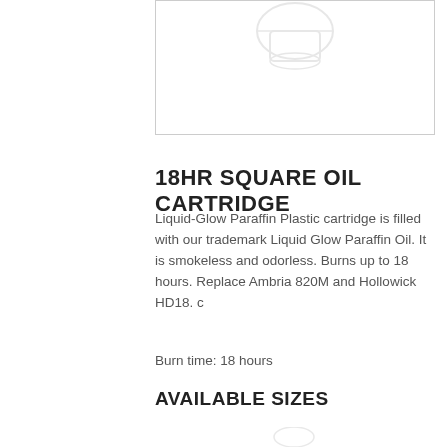[Figure (photo): Product image of 18HR Square Oil Cartridge, partially visible at top of page inside a bordered box]
18HR SQUARE OIL CARTRIDGE
Liquid-Glow Paraffin Plastic cartridge is filled with our trademark Liquid Glow Paraffin Oil. It is smokeless and odorless. Burns up to 18 hours. Replace Ambria 820M and Hollowick HD18. c
Burn time: 18 hours
AVAILABLE SIZES
[Figure (photo): Partial product image visible at bottom of page]